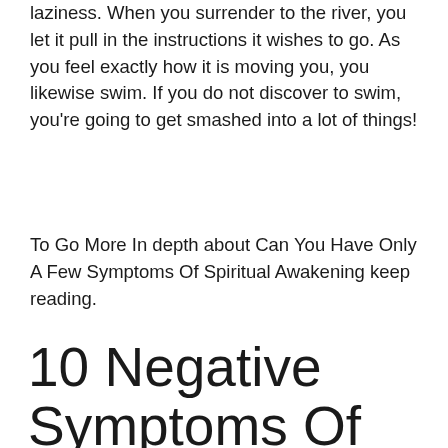laziness. When you surrender to the river, you let it pull in the instructions it wishes to go. As you feel exactly how it is moving you, you likewise swim. If you do not discover to swim, you're going to get smashed into a lot of things!
To Go More In depth about Can You Have Only A Few Symptoms Of Spiritual Awakening keep reading.
10 Negative Symptoms Of